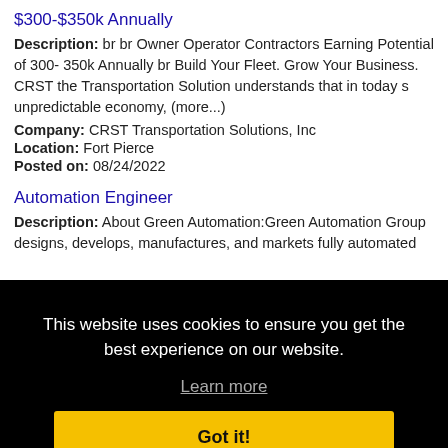$300-$350k Annually
Description: br br Owner Operator Contractors Earning Potential of 300- 350k Annually br Build Your Fleet. Grow Your Business. CRST the Transportation Solution understands that in today s unpredictable economy, (more...)
Company: CRST Transportation Solutions, Inc
Location: Fort Pierce
Posted on: 08/24/2022
Automation Engineer
Description: About Green Automation:Green Automation Group designs, develops, manufactures, and markets fully automated
This website uses cookies to ensure you get the best experience on our website.
Learn more
Got it!
86 per
RN ED
Location: Fort Pierce